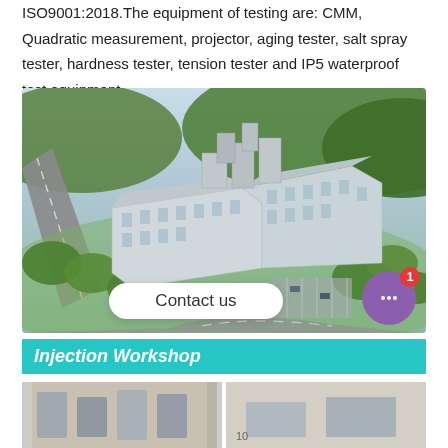ISO9001:2018.The equipment of testing are: CMM, Quadratic measurement, projector, aging tester, salt spray tester, hardness tester, tension tester and IP5 waterproof test equipment.
[Figure (photo): Aerial view of a large modern industrial/commercial building complex surrounded by green trees, with roads visible. The buildings are multi-story with glass facades.]
Contact us
Injection Workshop
[Figure (photo): Two photos side by side showing the injection workshop interior.]